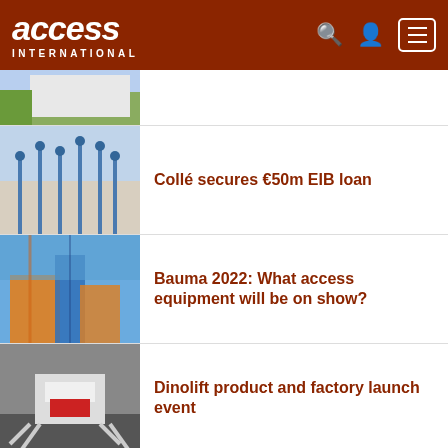access INTERNATIONAL
[Figure (photo): Partial view of a green field and white industrial building, cropped news thumbnail]
[Figure (photo): Blue aerial work platforms / scissor lifts lined up at a facility]
Collé secures €50m EIB loan
[Figure (photo): Colorful aerial work platform boom lift against blue sky, orange and blue machinery]
Bauma 2022: What access equipment will be on show?
[Figure (photo): White boom lift machine on dark ground with articulated outriggers]
Dinolift product and factory launch event
[Figure (photo): Aerial work platform with workers, blue sky background]
EU electrical hazard policy impossible to deliver, says Access